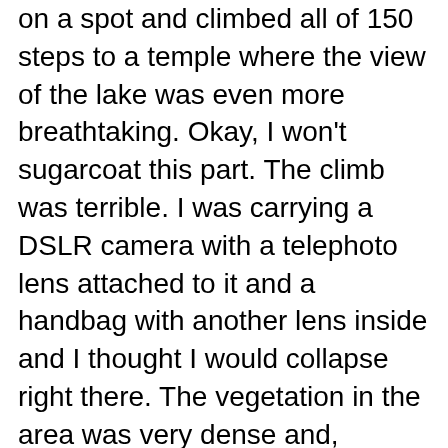on a spot and climbed all of 150 steps to a temple where the view of the lake was even more breathtaking. Okay, I won't sugarcoat this part. The climb was terrible. I was carrying a DSLR camera with a telephoto lens attached to it and a handbag with another lens inside and I thought I would collapse right there. The vegetation in the area was very dense and, naturally, until we reached the clearing near the temple, there was very little breeze to relieve the suffocating heat. When the climb was finally over, I just plopped on the temple steps and waited for the perspiration to stop. It didn't. But, after a few minutes, I was ready to put the bad climb behind me. If you're a photography buff, the punishing climb is not